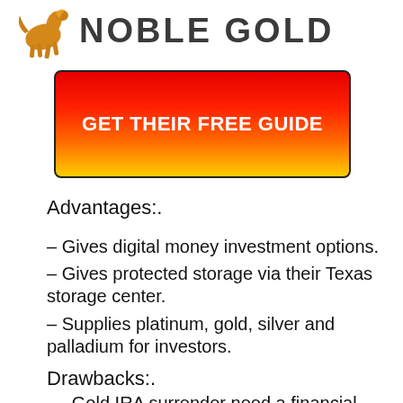[Figure (logo): Noble Gold logo with golden horse and bold dark text NOBLE GOLD]
[Figure (infographic): Red to gold gradient CTA button with text GET THEIR FREE GUIDE, black border, rounded corners]
Advantages:.
– Gives digital money investment options.
– Gives protected storage via their Texas storage center.
– Supplies platinum, gold, silver and palladium for investors.
Drawbacks:.
– Gold IRA surrender need a financial